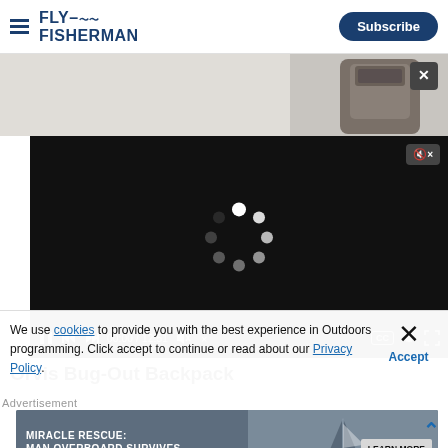FLY FISHERMAN | Subscribe
[Figure (photo): Orvis Bug-Out Backpack product photo partially visible above video player]
[Figure (screenshot): Video player showing loading spinner, controls bar with pause button, rewind, forward, time 00:00 / 12:51, mute, CC, settings, fullscreen. Mute icon with X shown top right of player.]
Orvis Bug-Out Backpack
We use cookies to provide you with the best experience in Outdoors programming. Click accept to continue or read about our Privacy Policy.
Advertisement
[Figure (infographic): Advertisement banner: MIRACLE RESCUE: MAN OVERBOARD SURVIVES WITH HELP OF A WHISTLE with sailboat image and LEARN MORE button]